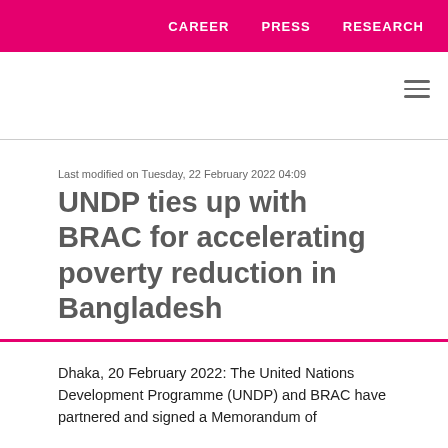CAREER   PRESS   RESEARCH
Last modified on Tuesday, 22 February 2022 04:09
UNDP ties up with BRAC for accelerating poverty reduction in Bangladesh
Dhaka, 20 February 2022: The United Nations Development Programme (UNDP) and BRAC have partnered and signed a Memorandum of